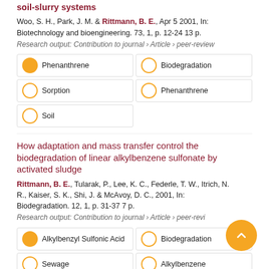soil-slurry systems
Woo, S. H., Park, J. M. & Rittmann, B. E., Apr 5 2001, In: Biotechnology and bioengineering. 73, 1, p. 12-24 13 p.
Research output: Contribution to journal › Article › peer-review
Phenanthrene
Biodegradation
Sorption
Phenanthrene
Soil
How adaptation and mass transfer control the biodegradation of linear alkylbenzene sulfonate by activated sludge
Rittmann, B. E., Tularak, P., Lee, K. C., Federle, T. W., Itrich, N. R., Kaiser, S. K., Shi, J. & McAvoy, D. C., 2001, In: Biodegradation. 12, 1, p. 31-37 7 p.
Research output: Contribution to journal › Article › peer-review
Alkylbenzyl Sulfonic Acid
Biodegradation
Sewage
Alkylbenzene